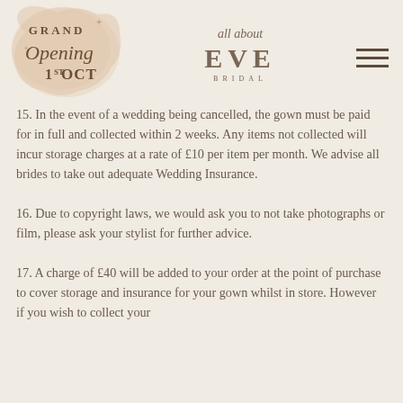[Figure (logo): Grand Opening 1st OCT circular watercolor badge logo]
[Figure (logo): All About Eve Bridal text logo]
[Figure (other): Hamburger menu icon (three horizontal lines)]
15. In the event of a wedding being cancelled, the gown must be paid for in full and collected within 2 weeks. Any items not collected will incur storage charges at a rate of £10 per item per month. We advise all brides to take out adequate Wedding Insurance.
16. Due to copyright laws, we would ask you to not take photographs or film, please ask your stylist for further advice.
17. A charge of £40 will be added to your order at the point of purchase to cover storage and insurance for your gown whilst in store. However if you wish to collect your